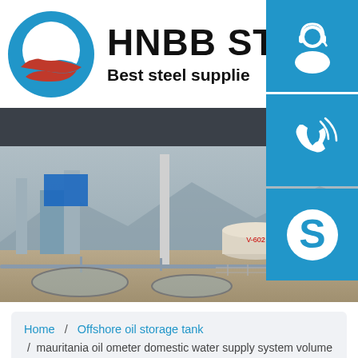[Figure (logo): HNBB Steel company logo with circular blue/red swoosh icon and company name]
HNBB STEEL
Best steel supplie
[Figure (photo): Industrial oil storage tank facility with multiple large white cylindrical tanks, pipes, and refinery structures]
[Figure (illustration): Blue square icon with white customer service headset/person symbol]
[Figure (illustration): Blue square icon with white phone/call symbol]
[Figure (illustration): Blue square icon with white Skype logo symbol]
Home  /  Offshore oil storage tank  /  mauritania oil ometer domestic water supply system volume